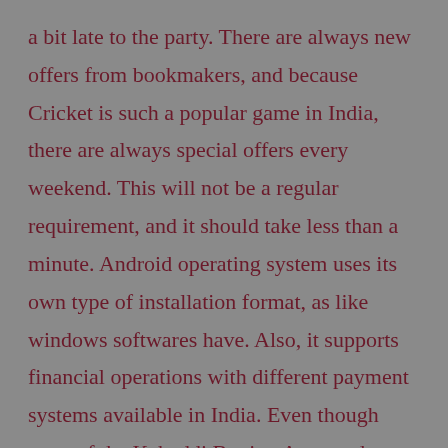a bit late to the party. There are always new offers from bookmakers, and because Cricket is such a popular game in India, there are always special offers every weekend. This will not be a regular requirement, and it should take less than a minute. Android operating system uses its own type of installation format, as like windows softwares have. Also, it supports financial operations with different payment systems available in India. Even though most of the Kabaddi Betting Apps and Websites are located in the Europe and other foreign countries, there are websites like 10CRIC that allow you to start betting on Pro Kabaddi with Indian rupees. A hit by pitch is not included in the definition